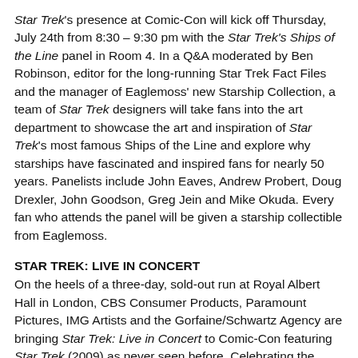Star Trek's presence at Comic-Con will kick off Thursday, July 24th from 8:30 – 9:30 pm with the Star Trek's Ships of the Line panel in Room 4. In a Q&A moderated by Ben Robinson, editor for the long-running Star Trek Fact Files and the manager of Eaglemoss' new Starship Collection, a team of Star Trek designers will take fans into the art department to showcase the art and inspiration of Star Trek's most famous Ships of the Line and explore why starships have fascinated and inspired fans for nearly 50 years. Panelists include John Eaves, Andrew Probert, Doug Drexler, John Goodson, Greg Jein and Mike Okuda. Every fan who attends the panel will be given a starship collectible from Eaglemoss.
STAR TREK: LIVE IN CONCERT
On the heels of a three-day, sold-out run at Royal Albert Hall in London, CBS Consumer Products, Paramount Pictures, IMG Artists and the Gorfaine/Schwartz Agency are bringing Star Trek: Live in Concert to Comic-Con featuring Star Trek (2009) as never seen before. Celebrating the extraordinary collaboration between film and music, Oscar-winning composer Michael Giacchino's score is brought to life on stage as J.J. Abrams' blockbuster film is shown simultaneously in high